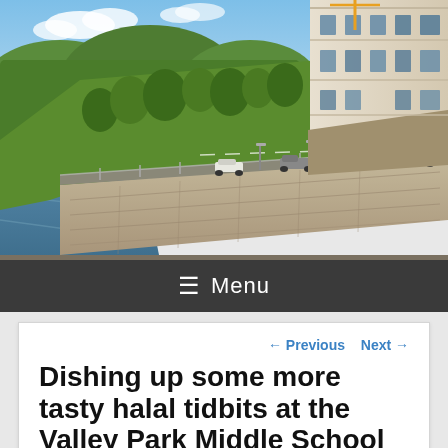[Figure (photo): Aerial/elevated photo of a winding road along a stone retaining wall next to a river, with lush green trees, and a large stone/limestone building in the upper right. Blue sky with some clouds. Several cars visible on the road.]
≡ Menu
← Previous   Next →
Dishing up some more tasty halal tidbits at the Valley Park Middle School Moorwoteria